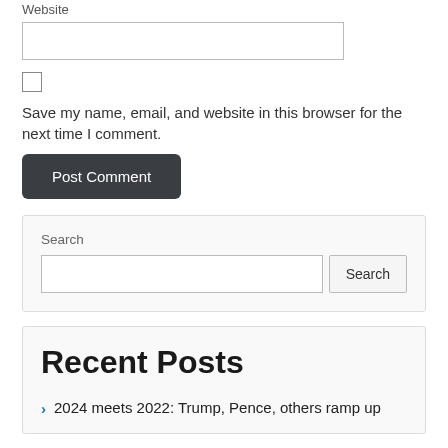Website
Save my name, email, and website in this browser for the next time I comment.
Post Comment
Search
Search
Recent Posts
2024 meets 2022: Trump, Pence, others ramp up